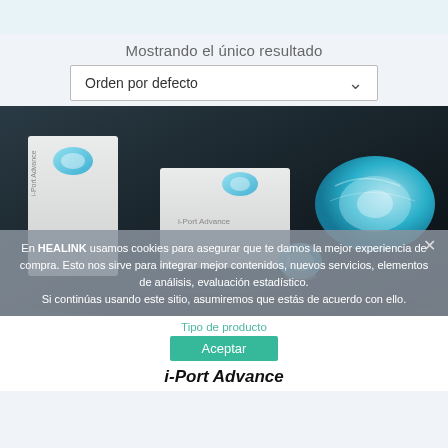Mostrando el único resultado
Orden por defecto
[Figure (photo): Product photo of i-Port Advance injection port device, showing white product boxes labeled 'i-Port Advance' and the blue translucent device, on a dark background.]
En HEALINK usamos cookies para asegurar que te damos la mejor experiencia de compra. Esto nos sirve para integrar mejor contenidos, nuevos servicios, elementos de análisis, evaluación estadístico.
Si continúas usando este sitio, asumiremos que estás de acuerdo con ello.
Tipo de producto
Aceptar
i-Port Advance